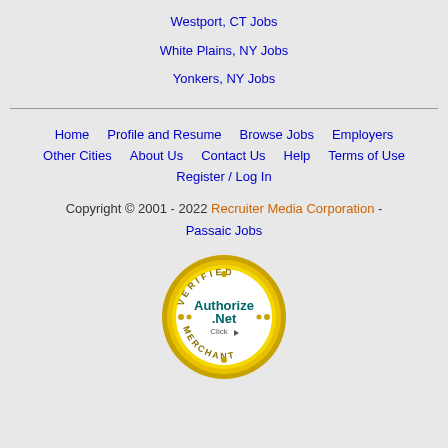Westport, CT Jobs
White Plains, NY Jobs
Yonkers, NY Jobs
Home   Profile and Resume   Browse Jobs   Employers   Other Cities   About Us   Contact Us   Help   Terms of Use   Register / Log In
Copyright © 2001 - 2022 Recruiter Media Corporation - Passaic Jobs
[Figure (logo): Authorize.Net Verified Merchant seal/badge]